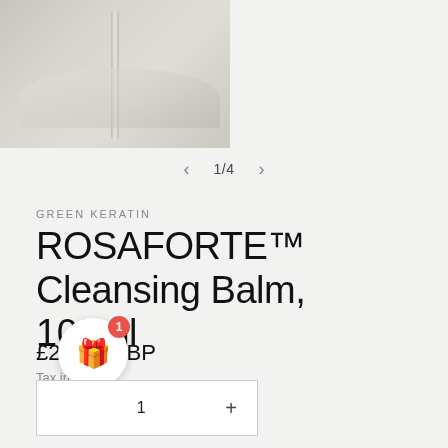[Figure (photo): Product photo strip showing a tube/dropper on marble surface on left and a bowl of yellow balm product with green leaves on right]
1/4
GREEN KERATIN
ROSAFORTE™ Cleansing Balm, 100ml
£24.95 GBP
Tax included
★★★★★ (1)
[Figure (illustration): Gift icon button with red badge showing number 1, and quantity selector box showing quantity 1]